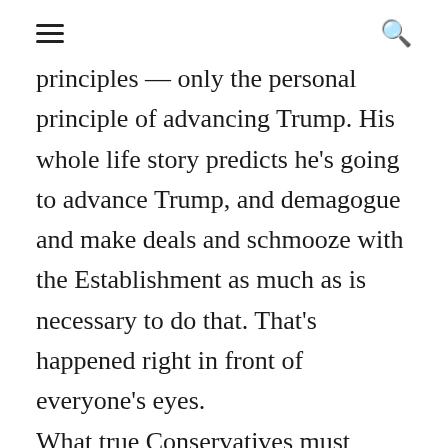☰  🔍
principles — only the personal principle of advancing Trump. His whole life story predicts he's going to advance Trump, and demagogue and make deals and schmooze with the Establishment as much as is necessary to do that. That's happened right in front of everyone's eyes. What true Conservatives must consider — looking at the long run, perhaps over a span of 10-20